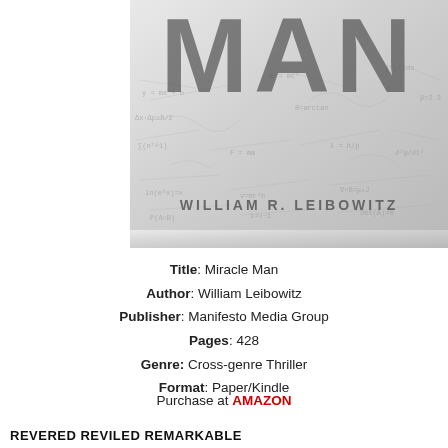[Figure (illustration): Book cover for 'Miracle Man' by William R. Leibowitz. Large grey text 'MAN' visible at top, author name 'WILLIAM R. LEIBOWITZ' in bold grey letters, background shows faint mathematical/scientific scribbles on a silver-grey surface.]
Title: Miracle Man
Author: William Leibowitz
Publisher: Manifesto Media Group
Pages: 428
Genre: Cross-genre Thriller
Format: Paper/Kindle
Purchase at AMAZON
REVERED REVILED REMARKABLE